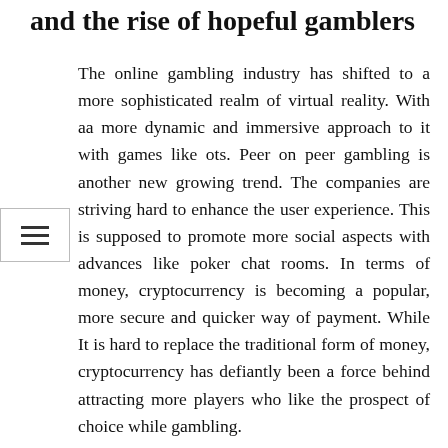and the rise of hopeful gamblers
The online gambling industry has shifted to a more sophisticated realm of virtual reality. With aa more dynamic and immersive approach to it with games like ots. Peer on peer gambling is another new growing trend. The companies are striving hard to enhance the user experience. This is supposed to promote more social aspects with advances like poker chat rooms. In terms of money, cryptocurrency is becoming a popular, more secure and quicker way of payment. While It is hard to replace the traditional form of money, cryptocurrency has defiantly been a force behind attracting more players who like the prospect of choice while gambling.
Many countries have legalized sports betting. Both gaming and gambling are evolving niches. The providers are better to try to understand, adapt to the user